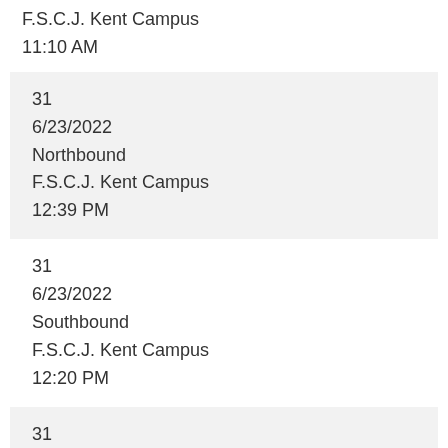F.S.C.J. Kent Campus
11:10 AM
31
6/23/2022
Northbound
F.S.C.J. Kent Campus
12:39 PM
31
6/23/2022
Southbound
F.S.C.J. Kent Campus
12:20 PM
31
6/23/2022
Northbound
F.S.C.J. Kent Campus